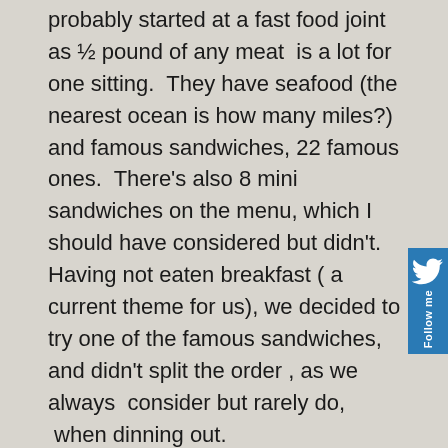probably started at a fast food joint as ½ pound of any meat is a lot for one sitting. They have seafood (the nearest ocean is how many miles?) and famous sandwiches, 22 famous ones. There's also 8 mini sandwiches on the menu, which I should have considered but didn't. Having not eaten breakfast ( a current theme for us), we decided to try one of the famous sandwiches, and didn't split the order , as we always consider but rarely do, when dinning out.
My order was a Hot Pastrami on pumpernickel bun, coleslaw, Swiss cheese and Russian dressing. (yes it was a ½ pound of pastrami), with pickles on the side. No chips or French fries. My husband ordered his favorite standby – the Ruben. I don't know why he orders Rubens because he always complains about them, as he's told me he has had the ultimate best Ruben of all time, while stationed in England, RAF